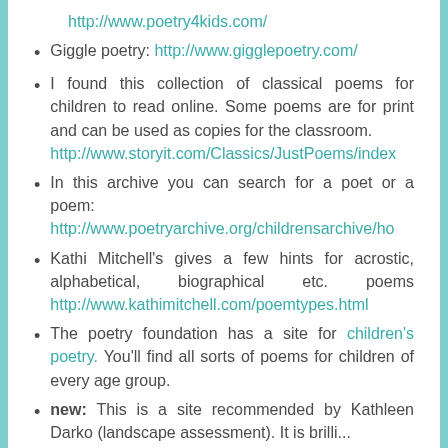http://www.poetry4kids.com/
Giggle poetry: http://www.gigglepoetry.com/
I found this collection of classical poems for children to read online. Some poems are for print and can be used as copies for the classroom. http://www.storyit.com/Classics/JustPoems/index
In this archive you can search for a poet or a poem: http://www.poetryarchive.org/childrensarchive/ho
Kathi Mitchell's gives a few hints for acrostic, alphabetical, biographical etc. poems http://www.kathimitchell.com/poemtypes.html
The poetry foundation has a site for children's poetry. You'll find all sorts of poems for children of every age group.
new: This is a site recommended by Kathleen Darko (landscape assessment). It is brilliant